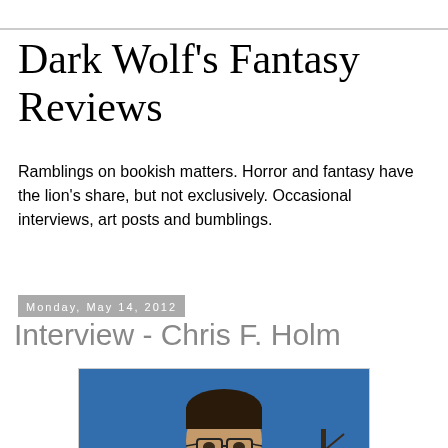Dark Wolf's Fantasy Reviews
Ramblings on bookish matters. Horror and fantasy have the lion's share, but not exclusively. Occasional interviews, art posts and bumblings.
Monday, May 14, 2012
Interview - Chris F. Holm
[Figure (photo): Photo of Chris F. Holm, a man with glasses, goatee, wearing a white/blue shirt, outdoors with blue sky and bare trees in background]